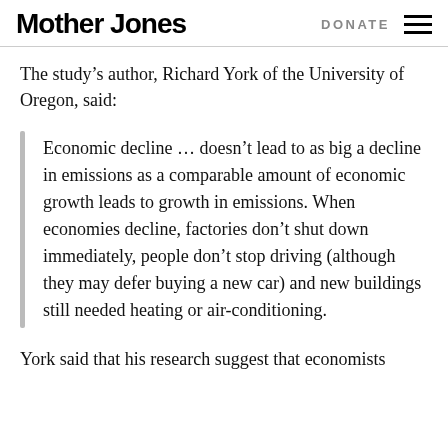Mother Jones | DONATE
The study’s author, Richard York of the University of Oregon, said:
Economic decline … doesn’t lead to as big a decline in emissions as a comparable amount of economic growth leads to growth in emissions. When economies decline, factories don’t shut down immediately, people don’t stop driving (although they may defer buying a new car) and new buildings still needed heating or air-conditioning.
York said that his research suggest that economists